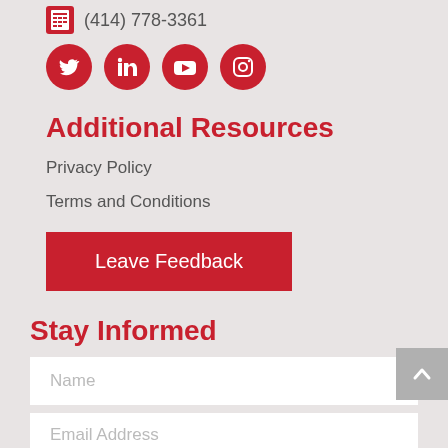(414) 778-3361
[Figure (infographic): Four red circular social media icons: Twitter, LinkedIn, YouTube, Instagram]
Additional Resources
Privacy Policy
Terms and Conditions
[Figure (infographic): Red rectangular button labeled 'Leave Feedback']
Stay Informed
Name
Email Address